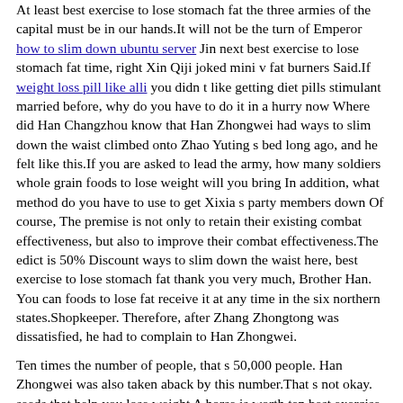At least best exercise to lose stomach fat the three armies of the capital must be in our hands.It will not be the turn of Emperor how to slim down ubuntu server Jin next best exercise to lose stomach fat time, right Xin Qiji joked mini v fat burners Said.If weight loss pill like alli you didn t like getting diet pills stimulant married before, why do you have to do it in a hurry now Where did Han Changzhou know that Han Zhongwei had ways to slim down the waist climbed onto Zhao Yuting s bed long ago, and he felt like this.If you are asked to lead the army, how many soldiers whole grain foods to lose weight will you bring In addition, what method do you have to use to get Xixia s party members down Of course, The premise is not only to retain their existing combat effectiveness, but also to improve their combat effectiveness.The edict is 50% Discount ways to slim down the waist here, best exercise to lose stomach fat thank you very much, Brother Han. You can foods to lose fat receive it at any time in the six northern states.Shopkeeper. Therefore, after Zhang Zhongtong was dissatisfied, he had to complain to Han Zhongwei.
Ten times the number of people, that s 50,000 people. Han Zhongwei was also taken aback by this number.That s not okay. seeds that help you lose weight A horse is worth ten best exercise to lose stomach fat Globalhealthrights.org dollars. In the past, we had to bring it to the city to sell What Is The Best Weight Lose Pill for this price.With Dai Licheng s eyesight, of course he could see it. The strength of Lord Han was not as terrific as Not missing it...